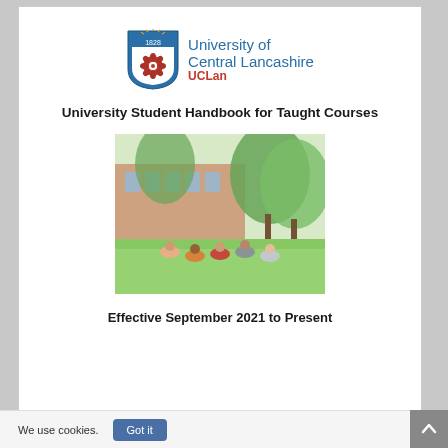[Figure (logo): University of Central Lancashire (UCLan) shield logo with text 'University of Central Lancashire UCLan']
University Student Handbook for Taught Courses
[Figure (photo): Students sitting on grass outside a university campus building surrounded by trees]
Effective September 2021 to Present
We use cookies.
Got it